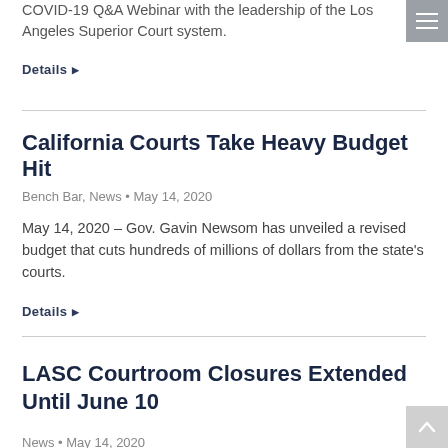COVID-19 Q&A Webinar with the leadership of the Los Angeles Superior Court system.
Details
California Courts Take Heavy Budget Hit
Bench Bar, News • May 14, 2020
May 14, 2020 – Gov. Gavin Newsom has unveiled a revised budget that cuts hundreds of millions of dollars from the state's courts.
Details
LASC Courtroom Closures Extended Until June 10
News • May 14, 2020